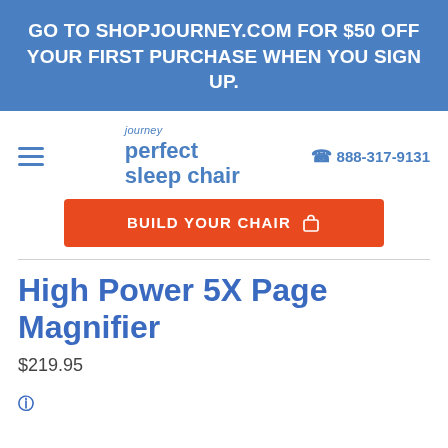GO TO SHOPJOURNEY.COM FOR $50 OFF YOUR FIRST PURCHASE WHEN YOU SIGN UP.
[Figure (logo): Journey Perfect Sleep Chair logo with hamburger menu icon and phone number 888-317-9131]
BUILD YOUR CHAIR
High Power 5X Page Magnifier
$219.95